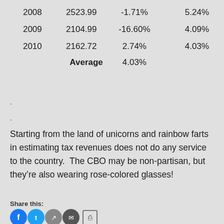| 2008 | 2523.99 | -1.71% | 5.24% |
| 2009 | 2104.99 | -16.60% | 4.09% |
| 2010 | 2162.72 | 2.74% | 4.03% |
| Average |  | 4.03% |  |
.
.
Starting from the land of unicorns and rainbow farts in estimating tax revenues does not do any service to the country.  The CBO may be non-partisan, but they’re also wearing rose-colored glasses!
Share this: